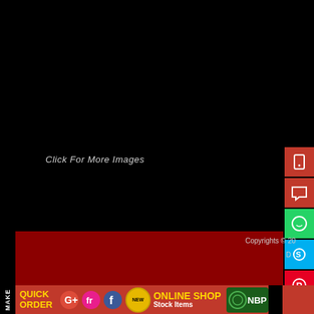[Figure (screenshot): Large black background area representing a product image viewer with text 'Click For More Images']
Click For More Images
[Figure (screenshot): Right sidebar with social/contact icon buttons on red background: phone, chat, WhatsApp, Skype, Pinterest]
[Figure (screenshot): Dark red footer area with copyright text 'Copyrights © 20...' and 'D...' partially visible, and [X] close button]
Copyrights © 20
D
[X]
[Figure (screenshot): Bottom navigation bar with MAKE label, QUICK ORDER text, Google+, Friendfeed, Facebook social icons, NEW badge, ONLINE SHOP / Stock Items text, NBP logo]
MAKE
QUICK ORDER
ONLINE SHOP
Stock Items
NBP